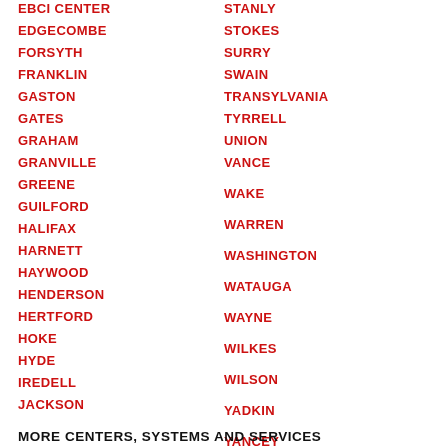EBCI CENTER
EDGECOMBE
FORSYTH
FRANKLIN
GASTON
GATES
GRAHAM
GRANVILLE
GREENE
GUILFORD
HALIFAX
HARNETT
HAYWOOD
HENDERSON
HERTFORD
HOKE
HYDE
IREDELL
JACKSON
STANLY
STOKES
SURRY
SWAIN
TRANSYLVANIA
TYRRELL
UNION
VANCE
WAKE
WARREN
WASHINGTON
WATAUGA
WAYNE
WILKES
WILSON
YADKIN
YANCEY
MORE CENTERS, SYSTEMS AND SERVICES